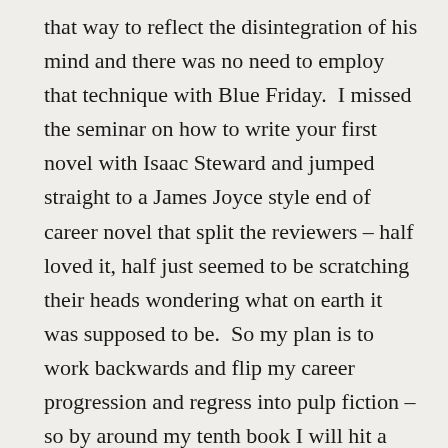that way to reflect the disintegration of his mind and there was no need to employ that technique with Blue Friday.  I missed the seminar on how to write your first novel with Isaac Steward and jumped straight to a James Joyce style end of career novel that split the reviewers – half loved it, half just seemed to be scratching their heads wondering what on earth it was supposed to be.  So my plan is to work backwards and flip my career progression and regress into pulp fiction – so by around my tenth book I will hit a low and reach the Dan Brown stage of writing style and plotting structures.  I think looking back Isaac was an intensely emotional book to write whilst I had a lot more fun with Blue Friday – and there is more humour in it.  I was also really interested in writing using minimalism to shape my style so Blue Friday is cut back hard and is faster paced as a result. In the